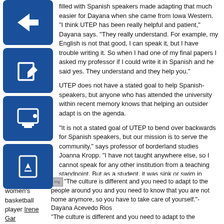filled with Spanish speakers made adapting that much easier for Dayana when she came from Iowa Western. “I think UTEP has been really helpful and patient,” Dayana says. “They really understand. For example, my English is not that good, I can speak it, but I have trouble writing it. So when I had one of my final papers I asked my professor if I could write it in Spanish and he said yes. They understand and they help you.”
UTEP does not have a stated goal to help Spanish-speakers, but anyone who has attended the university within recent memory knows that helping an outsider adapt is on the agenda.
“It is not a stated goal of UTEP to bend over backwards for Spanish speakers, but our mission is to serve the community,” says professor of borderland studies Joanna Kropp. “I have not taught anywhere else, so I cannot speak for any other institution from a teaching standpoint. But as a student, it was sink or swim in every regard. If you didn’t know the language—too bad, if you didn’t know how to study—too bad, if you didn’t know where things were—too bad. We are not like that at UTEP.”
Junior women’s basketball player Irene Gar...
“The culture is different and you need to adapt to the people around you and you need to know that you are not home anymore, so you have to take care of yourself.”-Dayana Acevedo Rios “The culture is different and you need to adapt to the